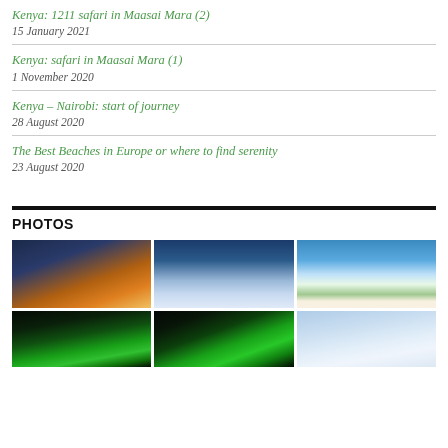Kenya: 1211 safari in Maasai Mara (2)
15 January 2021
Kenya: safari in Maasai Mara (1)
1 November 2020
Kenya – Nairobi: start of journey
28 August 2020
The Best Beaches in Europe or where to find serenity
23 August 2020
PHOTOS
[Figure (photo): Winter landscape at sunset with a building silhouette and sunburst effect over snowy terrain]
[Figure (photo): Snow-covered path or road at twilight with blue and purple hues and snowy trees]
[Figure (photo): Reindeer pulling a sled through a winter forest with snow-covered trees]
[Figure (photo): Northern lights (aurora borealis) in green over a dark landscape]
[Figure (photo): Northern lights (aurora borealis) glowing green over a landscape]
[Figure (photo): Light blue sky with clouds, partially visible landscape below]